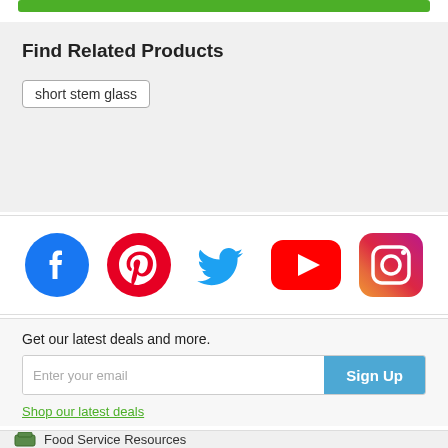[Figure (other): Green button/bar at top of page]
Find Related Products
short stem glass
[Figure (other): Social media icons row: Facebook, Pinterest, Twitter, YouTube, Instagram]
Get our latest deals and more.
Enter your email
Sign Up
Shop our latest deals
Food Service Resources